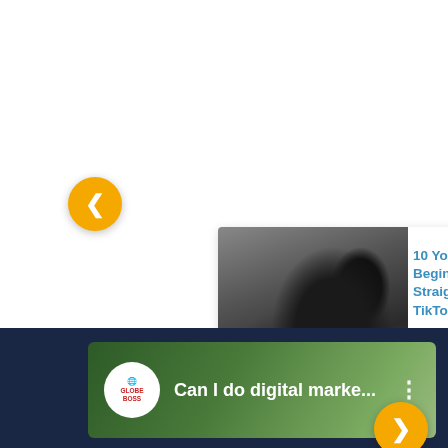[Figure (screenshot): Carousel card showing a muddy buffalo/water buffalo photo on the left and article title text on the right: '10 Yoga Tips For Beginners Straight From TikTok – Bustle' in blue. A left navigation arrow (yellow circle with <) is on the left side.]
10 Yoga Tips For Beginners Straight From TikTok – Bustle
[Figure (screenshot): Second carousel card showing article title text on the left: 'Adventure group brings yoga poses back to local trails – GuelphToday' in blue, and a muddy buffalo/water buffalo photo on the right. A right navigation arrow (yellow circle with >) is on the right side.]
Adventure group brings yoga poses back to local trails – GuelphToday
[Figure (screenshot): Bottom dark navy panel with a video thumbnail showing a green nature background, a white circular avatar/logo with 'GLOBE BOSS' text, and the partial video title 'Can I do digital marke...' in white text with a three-dot menu icon.]
Can I do digital marke...